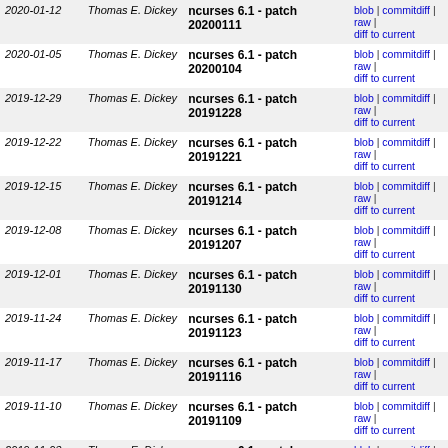| Date | Author | Commit | Links |
| --- | --- | --- | --- |
| 2020-01-12 | Thomas E. Dickey | ncurses 6.1 - patch 20200111 | blob | commitdiff | raw | diff to current |
| 2020-01-05 | Thomas E. Dickey | ncurses 6.1 - patch 20200104 | blob | commitdiff | raw | diff to current |
| 2019-12-29 | Thomas E. Dickey | ncurses 6.1 - patch 20191228 | blob | commitdiff | raw | diff to current |
| 2019-12-22 | Thomas E. Dickey | ncurses 6.1 - patch 20191221 | blob | commitdiff | raw | diff to current |
| 2019-12-15 | Thomas E. Dickey | ncurses 6.1 - patch 20191214 | blob | commitdiff | raw | diff to current |
| 2019-12-08 | Thomas E. Dickey | ncurses 6.1 - patch 20191207 | blob | commitdiff | raw | diff to current |
| 2019-12-01 | Thomas E. Dickey | ncurses 6.1 - patch 20191130 | blob | commitdiff | raw | diff to current |
| 2019-11-24 | Thomas E. Dickey | ncurses 6.1 - patch 20191123 | blob | commitdiff | raw | diff to current |
| 2019-11-17 | Thomas E. Dickey | ncurses 6.1 - patch 20191116 | blob | commitdiff | raw | diff to current |
| 2019-11-10 | Thomas E. Dickey | ncurses 6.1 - patch 20191109 | blob | commitdiff | raw | diff to current |
| 2019-11-03 | Thomas E. Dickey | ncurses 6.1 - patch 20191102 | blob | commitdiff | raw | diff to current |
| 2019-10-27 | Thomas E. Dickey | ncurses 6.1 - patch 20191026 | blob | commitdiff | raw | diff to current |
| 2019-10-20 | Thomas E. Dickey | ncurses 6.1 - patch 20191019 | blob | commitdiff | raw | diff to current |
| 2019-10- | Thomas E. | ncurses 6.1 - patch | blob | commitdiff | raw |